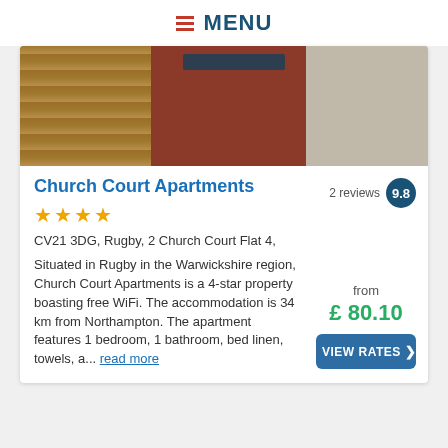MENU
[Figure (photo): Photo of Church Court Apartments exterior showing wooden fence, red brick wall, dark sign board, and concrete pavement]
Church Court Apartments
2 reviews 9.8
★★★★
CV21 3DG, Rugby, 2 Church Court Flat 4,
Situated in Rugby in the Warwickshire region, Church Court Apartments is a 4-star property boasting free WiFi. The accommodation is 34 km from Northampton. The apartment features 1 bedroom, 1 bathroom, bed linen, towels, a... read more
from £ 80.10
VIEW RATES >